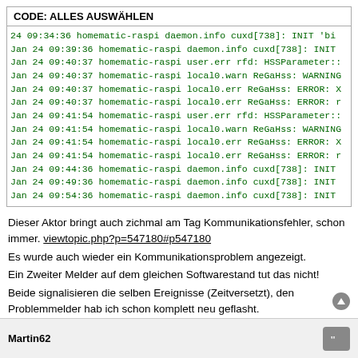CODE: ALLES AUSWÄHLEN
[Figure (screenshot): Code block showing syslog entries from homematic-raspi with timestamps, daemon.info, user.err, local0.warn, local0.err messages related to cuxd and ReGaHss]
Dieser Aktor bringt auch zichmal am Tag Kommunikationsfehler, schon immer. viewtopic.php?p=547180#p547180
Es wurde auch wieder ein Kommunikationsproblem angezeigt.
Ein Zweiter Melder auf dem gleichen Softwarestand tut das nicht!
Beide signalisieren die selben Ereignisse (Zeitversetzt), den Problemmelder hab ich schon komplett neu geflasht.
Kommt man hier dem Problem näher?
Martin62